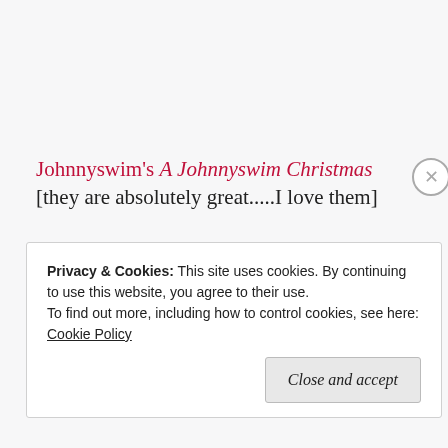Johnnyswim's A Johnnyswim Christmas [they are absolutely great.....I love them]
[Figure (illustration): Album cover placeholder image for A Johnnyswim Christmas with broken image icon and text label]
Privacy & Cookies: This site uses cookies. By continuing to use this website, you agree to their use. To find out more, including how to control cookies, see here: Cookie Policy
Close and accept